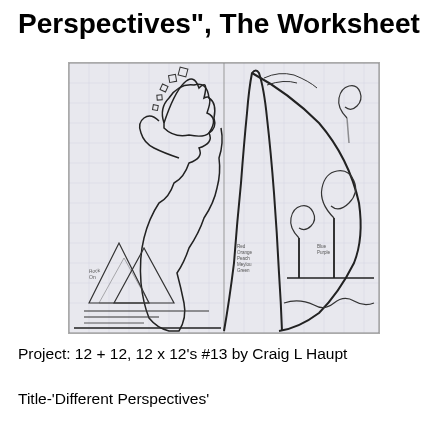Perspectives", The Worksheet
[Figure (illustration): Pencil sketch worksheet showing two side-by-side drawings: left side features a large bear-like figure standing among mountains with a lake and horizontal lines; right side features a large curved/wave shape with spiral lollipop trees and small handwritten notes labeling colors/elements.]
Project: 12 + 12, 12 x 12's  #13 by Craig L Haupt
Title-‘Different Perspectives’